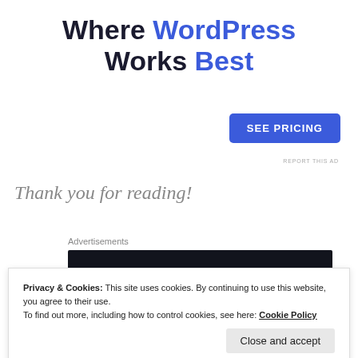Where WordPress Works Best
SEE PRICING
REPORT THIS AD
Thank you for reading!
Advertisements
[Figure (logo): Sensei advertisement banner on dark background showing the Sensei logo (tree icon in circle) and brand name 'sensei']
Privacy & Cookies: This site uses cookies. By continuing to use this website, you agree to their use.
To find out more, including how to control cookies, see here: Cookie Policy
Close and accept